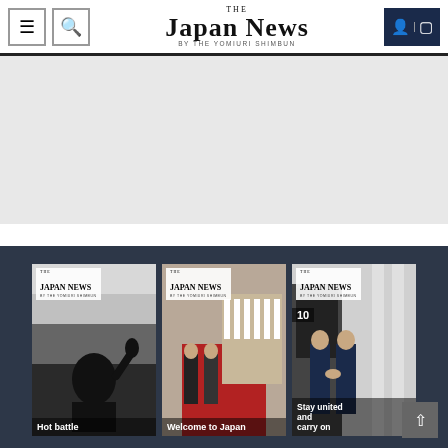THE JAPAN NEWS BY THE YOMIURI SHIMBUN
[Figure (screenshot): Advertisement banner area (gray placeholder)]
[Figure (photo): Three Japan News newspaper front pages in a dark background carousel. Left card shows 'Hot battle' headline with black and white photo. Middle card shows 'Welcome to Japan' headline with red carpet military ceremony photo. Right card shows 'Stay united and carry on' headline with two men in suits shaking hands.]